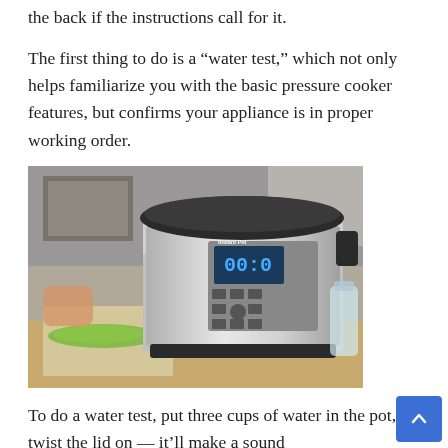the back if the instructions call for it.
The first thing to do is a “water test,” which not only helps familiarize you with the basic pressure cooker features, but confirms your appliance is in proper working order.
[Figure (photo): An Instant Pot pressure cooker sitting on a kitchen counter next to a cutting board with chopped green vegetables, with a person's hand visible in the background.]
To do a water test, put three cups of water in the pot, twist the lid on — it’ll make a sound